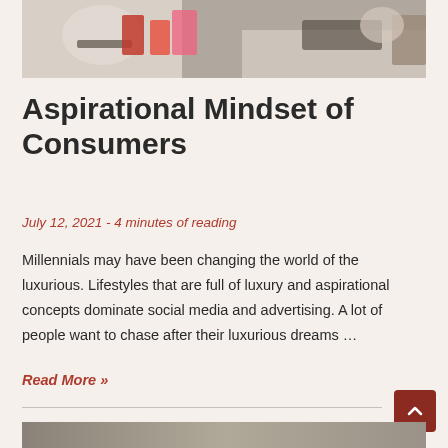[Figure (photo): Photo of a retail/shopping scene showing people at a checkout counter with shopping bags]
Aspirational Mindset of Consumers
July 12, 2021  -  4 minutes of reading
Millennials may have been changing the world of the luxurious. Lifestyles that are full of luxury and aspirational concepts dominate social media and advertising. A lot of people want to chase after their luxurious dreams …
Read More »
[Figure (photo): Partial photo visible at the bottom of the page]